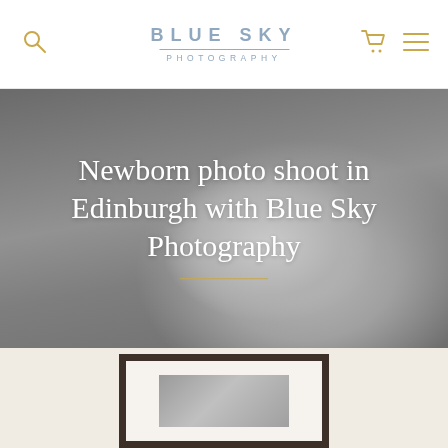BLUE SKY PHOTOGRAPHY
Newborn photo shoot in Edinburgh with Blue Sky Photography
[Figure (photo): Black and white photograph of a sleeping newborn baby, curled up on a soft blanket, serving as hero background image for Blue Sky Photography website]
[Figure (photo): Partial view of a framed black and white newborn photograph displayed on a cream/beige wall]